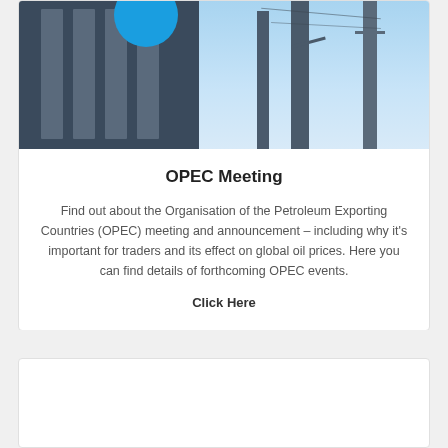[Figure (photo): Photograph showing a dark building facade with vertical panels on the left, a blue circular logo/icon partially visible at the top, and industrial towers/communication masts against a light blue sky on the right.]
OPEC Meeting
Find out about the Organisation of the Petroleum Exporting Countries (OPEC) meeting and announcement – including why it's important for traders and its effect on global oil prices. Here you can find details of forthcoming OPEC events.
Click Here
[Figure (other): Second card section, mostly empty/white content area.]